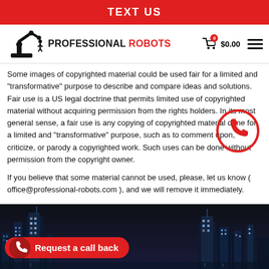TEXT US
[Figure (logo): Professional Robots logo with robotic arm icon and brand name]
Some images of copyrighted material could be used fair for a limited and "transformative" purpose to describe and compare ideas and solutions. Fair use is a US legal doctrine that permits limited use of copyrighted material without acquiring permission from the rights holders. In its most general sense, a fair use is any copying of copyrighted material done for a limited and "transformative" purpose, such as to comment upon, criticize, or parody a copyrighted work. Such uses can be done without permission from the copyright owner.
If you believe that some material cannot be used, please, let us know ( office@professional-robots.com ), and we will remove it immediately.
[Figure (illustration): Dark city skyline footer image with nighttime buildings]
[Figure (other): Request a call back button with phone icon]